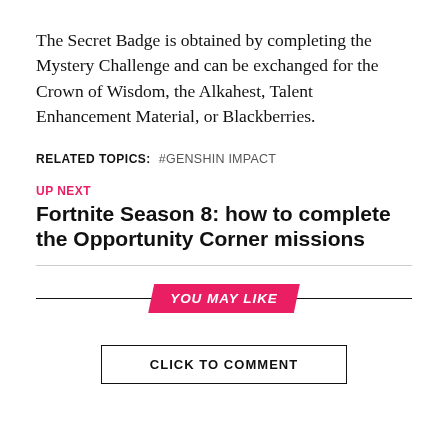The Secret Badge is obtained by completing the Mystery Challenge and can be exchanged for the Crown of Wisdom, the Alkahest, Talent Enhancement Material, or Blackberries.
RELATED TOPICS: #GENSHIN IMPACT
UP NEXT
Fortnite Season 8: how to complete the Opportunity Corner missions
YOU MAY LIKE
CLICK TO COMMENT